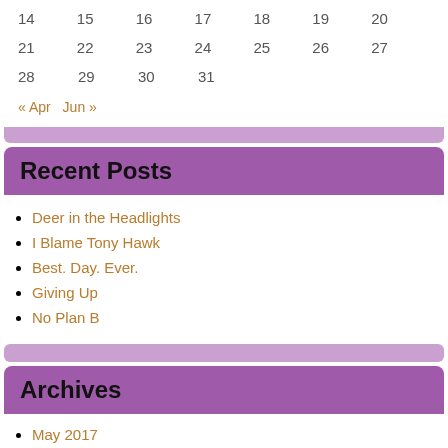| 14 | 15 | 16 | 17 | 18 | 19 | 20 |
| 21 | 22 | 23 | 24 | 25 | 26 | 27 |
| 28 | 29 | 30 | 31 |  |  |  |
« Apr   Jun »
Recent Posts
Deer in the Headlights
I Blame Tony Hawk
Best. Day. Ever.
Giving Up
No Plan B
Archives
May 2017
February 2016
December 2015